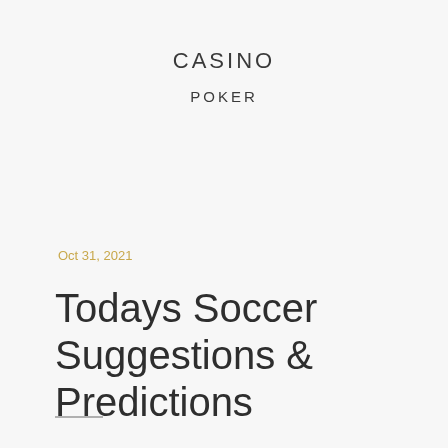CASINO
POKER
Oct 31, 2021
Todays Soccer Suggestions & Predictions